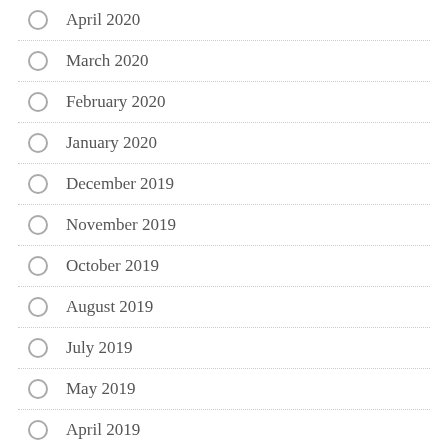April 2020
March 2020
February 2020
January 2020
December 2019
November 2019
October 2019
August 2019
July 2019
May 2019
April 2019
March 2019